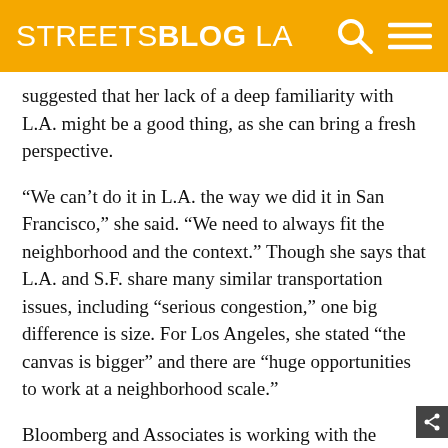STREETSBLOG LA
suggested that her lack of a deep familiarity with L.A. might be a good thing, as she can bring a fresh perspective.
“We can’t do it in L.A. the way we did it in San Francisco,” she said. “We need to always fit the neighborhood and the context.” Though she says that L.A. and S.F. share many similar transportation issues, including “serious congestion,” one big difference is size. For Los Angeles, she stated “the canvas is bigger” and there are “huge opportunities to work at a neighborhood scale.”
Bloomberg and Associates is working with the Mayor’s Office and LADOT on the rollout of the